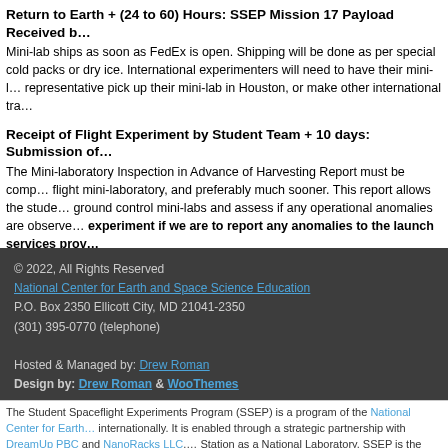Return to Earth + (24 to 60) Hours: SSEP Mission 17 Payload Received b…
Mini-lab ships as soon as FedEx is open. Shipping will be done as per special cold packs or dry ice. International experimenters will need to have their mini-l… representative pick up their mini-lab in Houston, or make other international tra…
Receipt of Flight Experiment by Student Team + 10 days: Submission of…
The Mini-laboratory Inspection in Advance of Harvesting Report must be comp… flight mini-laboratory, and preferably much sooner. This report allows the stude… ground control mini-labs and assess if any operational anomalies are observed. experiment if we are to report any anomalies to the launch services prov…
© 2022, All Rights Reserved
National Center for Earth and Space Science Education
P.O. Box 2350 Ellicott City, MD 21041-2350
(301) 395-0770 (telephone)

Hosted & Managed by: Drew Roman
Design by: Drew Roman & WooThemes
The Student Spaceflight Experiments Program (SSEP) is a program of the National Center for Earth… internationally. It is enabled through a strategic partnership with DreamUp PBC and NanoRacks LLC,… Station as a National Laboratory. SSEP is the first pre-college STEM education program that is both a…